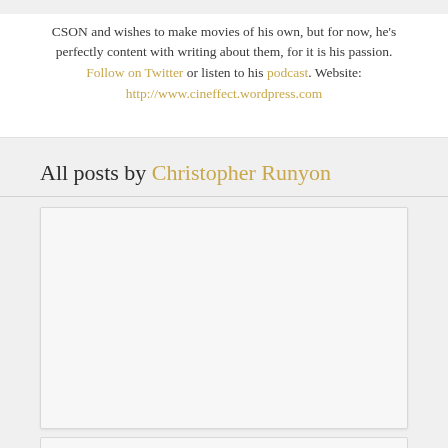CSON and wishes to make movies of his own, but for now, he's perfectly content with writing about them, for it is his passion. Follow on Twitter or listen to his podcast. Website: http://www.cineffect.wordpress.com
All posts by Christopher Runyon
[Figure (other): A blank/empty post card area below the heading, representing a post listing widget]